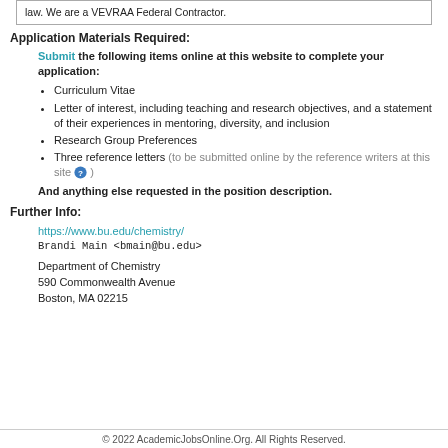law. We are a VEVRAA Federal Contractor.
Application Materials Required:
Submit the following items online at this website to complete your application:
Curriculum Vitae
Letter of interest, including teaching and research objectives, and a statement of their experiences in mentoring, diversity, and inclusion
Research Group Preferences
Three reference letters (to be submitted online by the reference writers at this site ?)
And anything else requested in the position description.
Further Info:
https://www.bu.edu/chemistry/
Brandi Main <bmain@bu.edu>
Department of Chemistry
590 Commonwealth Avenue
Boston, MA 02215
© 2022 AcademicJobsOnline.Org. All Rights Reserved.